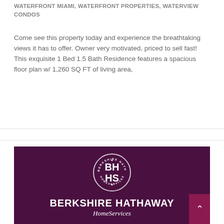WATERFRONT MIAMI, WATERFRONT PROPERTIES, WATERVIEW CONDOS
Come see this property today and experience the breathtaking views it has to offer. Owner very motivated, priced to sell fast! This exquisite 1 Bed 1.5 Bath Residence features a spacious floor plan w/ 1,260 SQ FT of living area,
READ MORE
[Figure (logo): Berkshire Hathaway HomeServices logo on dark purple background. Circle emblem with BH HS initials surrounded by text reading BERKSHIRE HATHAWAY HOMESERVICES. Below the circle: BERKSHIRE HATHAWAY in large bold letters and HomeServices in italic below.]